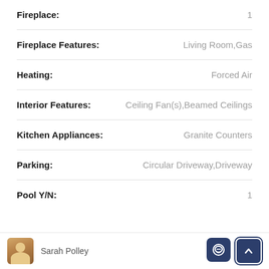| Property | Value |
| --- | --- |
| Fireplace: | 1 |
| Fireplace Features: | Living Room,Gas |
| Heating: | Forced Air |
| Interior Features: | Ceiling Fan(s),Beamed Ceilings |
| Kitchen Appliances: | Granite Counters |
| Parking: | Circular Driveway,Driveway |
| Pool Y/N: | 1 |
Sarah Polley